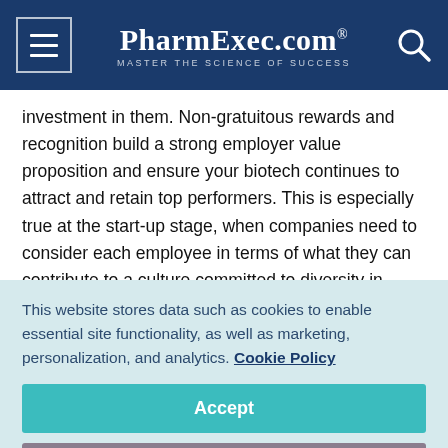PharmExec.com — MASTER THE SCIENCE OF SUCCESS
investment in them. Non-gratuitous rewards and recognition build a strong employer value proposition and ensure your biotech continues to attract and retain top performers. This is especially true at the start-up stage, when companies need to consider each employee in terms of what they can contribute to a culture committed to diversity in thought, voice and experience.
In addition to diversity, we focus on real-life examples which
This website stores data such as cookies to enable essential site functionality, as well as marketing, personalization, and analytics. Cookie Policy
Accept
Deny